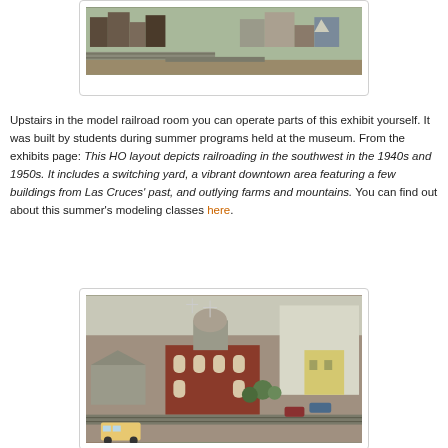[Figure (photo): Aerial view of a model railroad HO layout depicting a southwestern town with buildings, roads, and train tracks]
Upstairs in the model railroad room you can operate parts of this exhibit yourself. It was built by students during summer programs held at the museum. From the exhibits page: This HO layout depicts railroading in the southwest in the 1940s and 1950s. It includes a switching yard, a vibrant downtown area featuring a few buildings from Las Cruces' past, and outlying farms and mountains. You can find out about this summer's modeling classes here.
[Figure (photo): Close-up view of the HO model railroad layout showing a detailed red brick church building with a dome and cross, surrounding streets, vehicles, and trees]